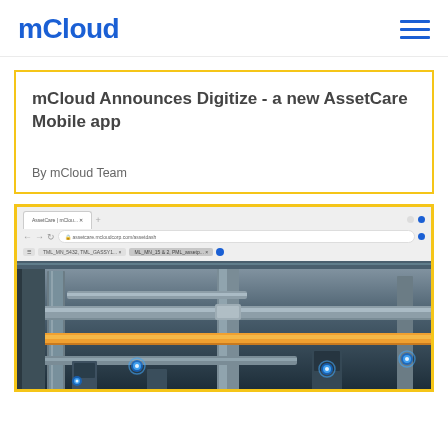mCloud
mCloud Announces Digitize - a new AssetCare Mobile app
By mCloud Team
[Figure (screenshot): Browser screenshot showing the mCloud AssetCare web application with an industrial facility panoramic view featuring pipes, equipment, and blue IoT sensor markers overlaid on the image]